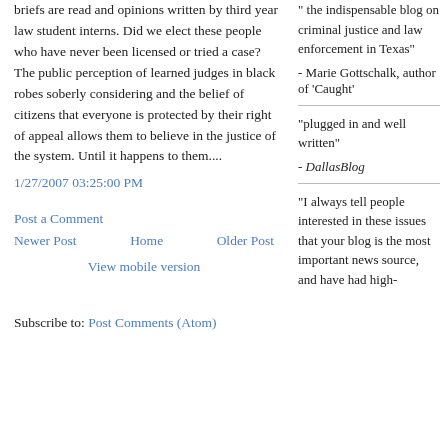briefs are read and opinions written by third year law student interns. Did we elect these people who have never been licensed or tried a case? The public perception of learned judges in black robes soberly considering and the belief of citizens that everyone is protected by their right of appeal allows them to believe in the justice of the system. Until it happens to them....
1/27/2007 03:25:00 PM
Post a Comment
Newer Post
Home
Older Post
View mobile version
Subscribe to: Post Comments (Atom)
the indispensable blog on criminal justice and law enforcement in Texas"
- Marie Gottschalk, author of 'Caught'
"plugged in and well written"
- DallasBlog
"I always tell people interested in these issues that your blog is the most important news source, and have had high-